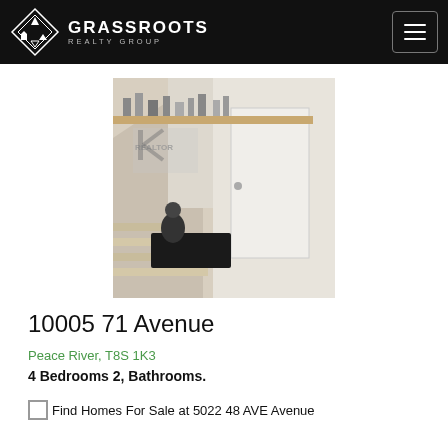GRASSROOTS REALTY GROUP
[Figure (photo): Interior photo showing a staircase area with hardwood floors, a white door, dark doormat, and decorative items on a wooden shelf along the wall. A realtor watermark is visible.]
10005 71 Avenue
Peace River, T8S 1K3
4 Bedrooms 2, Bathrooms.
Find Homes For Sale at 5022 48 AVE Avenue